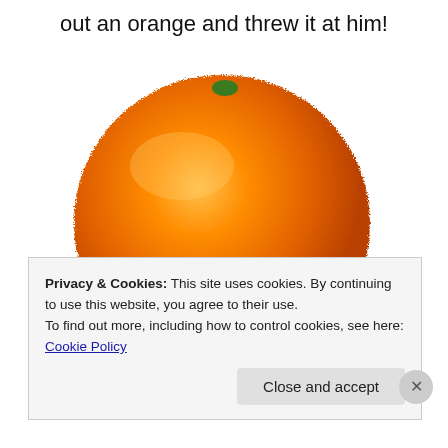out an orange and threw it at him!
[Figure (photo): A single orange fruit photographed on a white background, round shape with textured peel and small green stem at top.]
Privacy & Cookies: This site uses cookies. By continuing to use this website, you agree to their use.
To find out more, including how to control cookies, see here: Cookie Policy
Close and accept